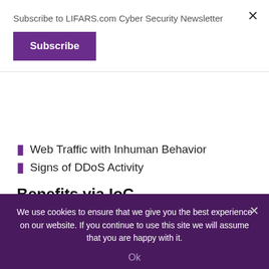Subscribe to LIFARS.com Cyber Security Newsletter
Subscribe
Web Traffic with Inhuman Behavior
Signs of DDoS Activity
Benefits via IoC
IoCs are crucial for sharing threat information and can help organizations if their security has been breached by any incident. This not only gives an insight to the organization
We use cookies to ensure that we give you the best experience on our website. If you continue to use this site we will assume that you are happy with it.
Ok